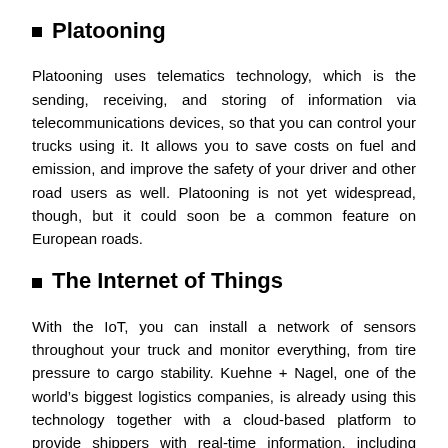Platooning
Platooning uses telematics technology, which is the sending, receiving, and storing of information via telecommunications devices, so that you can control your trucks using it. It allows you to save costs on fuel and emission, and improve the safety of your driver and other road users as well. Platooning is not yet widespread, though, but it could soon be a common feature on European roads.
The Internet of Things
With the IoT, you can install a network of sensors throughout your truck and monitor everything, from tire pressure to cargo stability. Kuehne + Nagel, one of the world’s biggest logistics companies, is already using this technology together with a cloud-based platform to provide shippers with real-time information, including weather reports, location, and condition of the freight. As a result, manpower is reduced, because AI is pretty much in charge of all the monitoring and